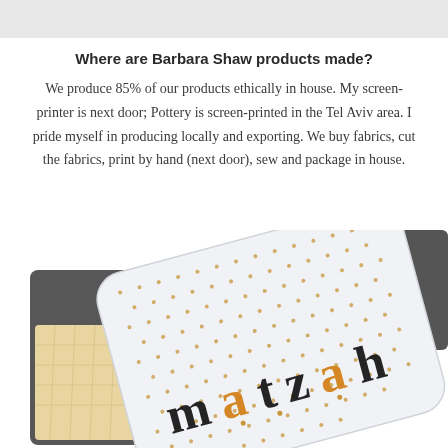Where are Barbara Shaw products made?
We produce 85% of our products ethically in house. My screen-printer is next door; Pottery is screen-printed in the Tel Aviv area. I pride myself in producing locally and exporting. We buy fabrics, cut the fabrics, print by hand (next door), sew and package in house.
[Figure (photo): A decorative tin box with a white lid covered in small golden dots, with the word 'matzah' printed in large text (black and orange/amber letters), containing matzah crackers visible on the left side. The box is angled and photographed from above on a white background.]